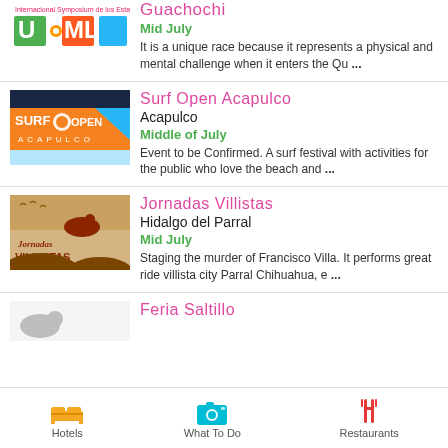Guachochi | Mid July | It is a unique race because it represents a physical and mental challenge when it enters the Qu ...
Surf Open Acapulco | Acapulco | Middle of July | Event to be Confirmed. A surf festival with activities for the public who love the beach and ...
Jornadas Villistas | Hidalgo del Parral | Mid July | Staging the murder of Francisco Villa. It performs great ride villista city Parral Chihuahua, e ...
Feria Saltillo
Hotels | What To Do | Restaurants